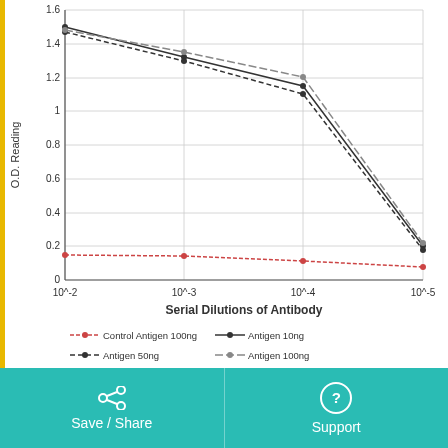[Figure (line-chart): Serial Dilutions of Antibody]
anti-PC4 and SFRS1 Interacting Protein 1 (PSIP1) antibody [ABIN1108769]
PSIP1
Reactivity: Human, Rat, Monkey
EIA, IF, IHC (p), WB
Host: Mouse
Monoclonal